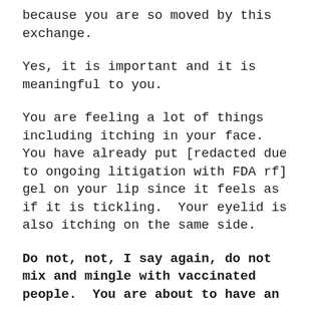because you are so moved by this exchange.
Yes, it is important and it is meaningful to you.
You are feeling a lot of things including itching in your face.  You have already put [redacted due to ongoing litigation with FDA rf] gel on your lip since it feels as if it is tickling.  Your eyelid is also itching on the same side.
Do not, not, I say again, do not mix and mingle with vaccinated people.  You are about to have an